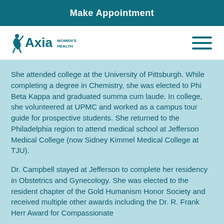Make Appointment
[Figure (logo): Axia Women's Health logo with teal figure and text]
She attended college at the University of Pittsburgh. While completing a degree in Chemistry, she was elected to Phi Beta Kappa and graduated summa cum laude. In college, she volunteered at UPMC and worked as a campus tour guide for prospective students. She returned to the Philadelphia region to attend medical school at Jefferson Medical College (now Sidney Kimmel Medical College at TJU).
Dr. Campbell stayed at Jefferson to complete her residency in Obstetrics and Gynecology. She was elected to the resident chapter of the Gold Humanism Honor Society and received multiple other awards including the Dr. R. Frank Herr Award for Compassionate...